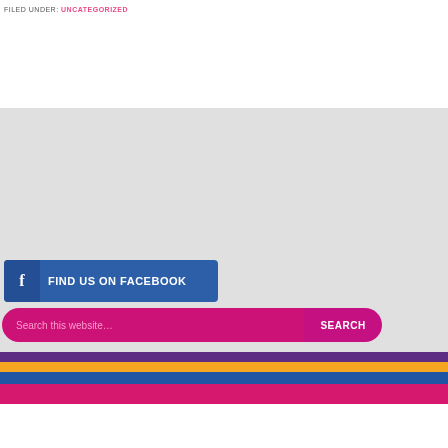FILED UNDER: UNCATEGORIZED
[Figure (other): Facebook button: 'FIND US ON FACEBOOK' with Facebook icon on dark blue background]
[Figure (other): Search bar with pink/magenta background, placeholder 'Search this website...', and a SEARCH button]
©2016 ADOPTION RESOURCES & COUNSELING, INC. ALL RIGHTS RESERVED
[Figure (other): Decorative horizontal color stripes: purple, orange, blue, magenta]